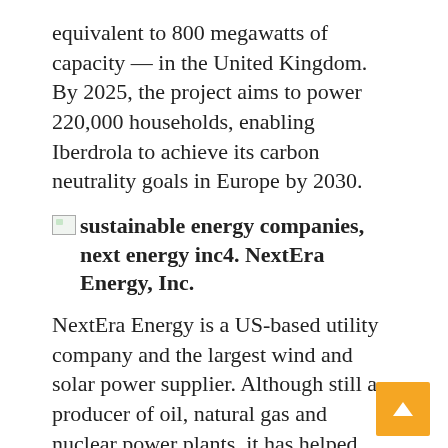equivalent to 800 megawatts of capacity — in the United Kingdom. By 2025, the project aims to power 220,000 households, enabling Iberdrola to achieve its carbon neutrality goals in Europe by 2030.
[Figure (other): Broken image placeholder for sustainable energy companies, next energy inc]
4. NextEra Energy, Inc.
NextEra Energy is a US-based utility company and the largest wind and solar power supplier. Although still a producer of oil, natural gas and nuclear power plants, it has helped reduce US reliance on foreign oil by 98% since 2001.
NextEra Energy subsidiaries include Florida Power & Light Company (FPL), Gulf Power Company NextEra Energy Resources, LLC.